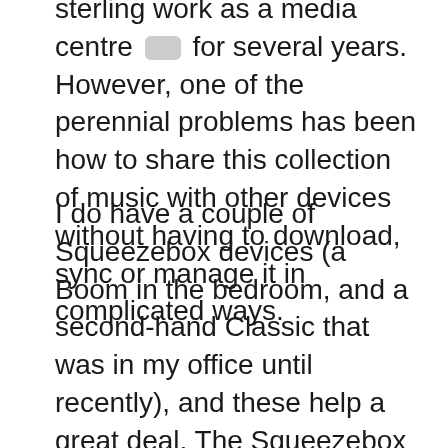sterling work as a media centre [icon] for several years. However, one of the perennial problems has been how to share this collection of music with other devices without having to download, sync or manage it in complicated ways.
I do have a couple of Squeezebox devices (a Boom in the bedroom, and a second-hand Classic that was in my office until recently), and these help a great deal. The Squeezebox server software reads the iTunes library and then allows you to play items in the library through the players located throughout the house. This works extremely well, but I'm worried that at some point this system is going to break because Logitech (who bought Squeezebox, neé SlimDevices) have recently announced that they